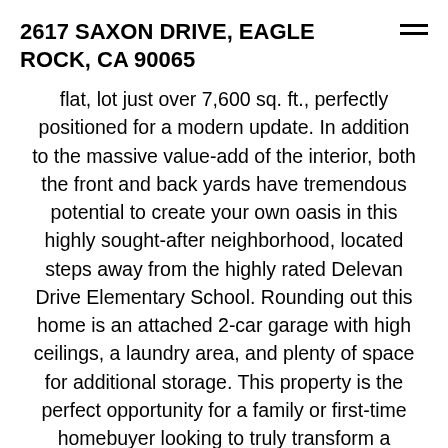2617 SAXON DRIVE, EAGLE ROCK, CA 90065
flat, lot just over 7,600 sq. ft., perfectly positioned for a modern update. In addition to the massive value-add of the interior, both the front and back yards have tremendous potential to create your own oasis in this highly sought-after neighborhood, located steps away from the highly rated Delevan Drive Elementary School. Rounding out this home is an attached 2-car garage with high ceilings, a laundry area, and plenty of space for additional storage. This property is the perfect opportunity for a family or first-time homebuyer looking to truly transform a